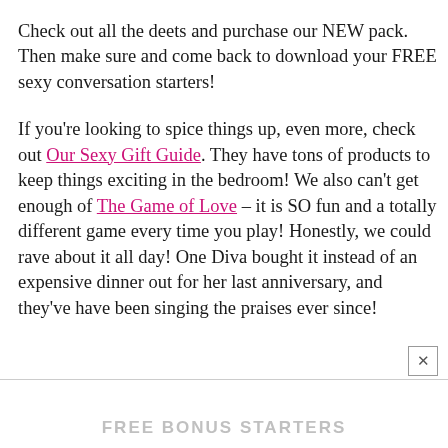Check out all the deets and purchase our NEW pack. Then make sure and come back to download your FREE sexy conversation starters!

If you're looking to spice things up, even more, check out Our Sexy Gift Guide. They have tons of products to keep things exciting in the bedroom! We also can't get enough of The Game of Love – it is SO fun and a totally different game every time you play! Honestly, we could rave about it all day! One Diva bought it instead of an expensive dinner out for her last anniversary, and they've have been singing the praises ever since!
FREE BONUS STARTERS